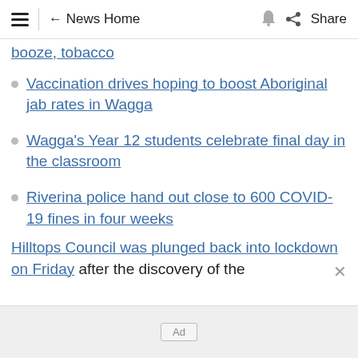≡ | ← News Home 🔔 Share
booze, tobacco
Vaccination drives hoping to boost Aboriginal jab rates in Wagga
Wagga's Year 12 students celebrate final day in the classroom
Riverina police hand out close to 600 COVID-19 fines in four weeks
Hilltops Council was plunged back into lockdown on Friday after the discovery of the ×
Ad